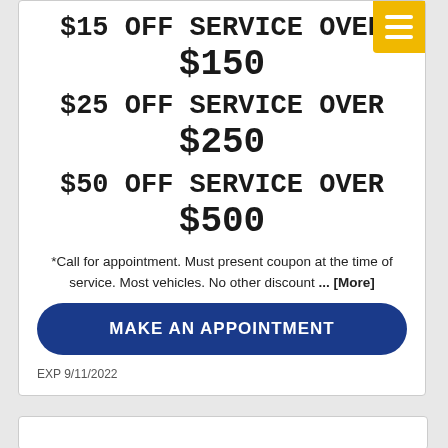$15 OFF SERVICE OVER $150
$25 OFF SERVICE OVER $250
$50 OFF SERVICE OVER $500
*Call for appointment. Must present coupon at the time of service. Most vehicles. No other discount ... [More]
MAKE AN APPOINTMENT
EXP 9/11/2022